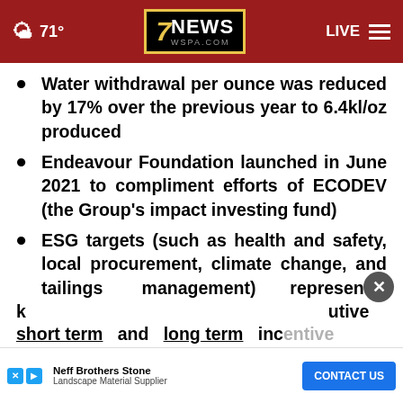7NEWS WSPA.COM — 71° LIVE
Water withdrawal per ounce was reduced by 17% over the previous year to 6.4kl/oz produced
Endeavour Foundation launched in June 2021 to compliment efforts of ECODEV (the Group's impact investing fund)
ESG targets (such as health and safety, local procurement, climate change, and tailings management) represent
short term and long term incentive
[Figure (screenshot): Advertisement bar: Neff Brothers Stone Landscape Material Supplier with CONTACT US button]